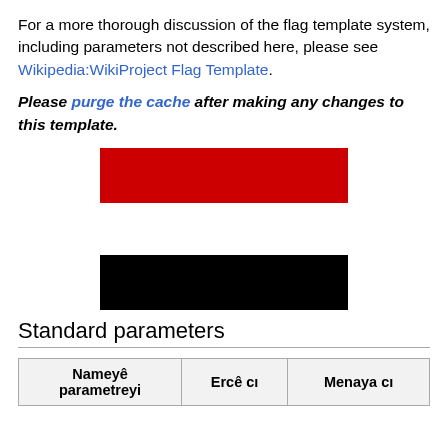For a more thorough discussion of the flag template system, including parameters not described here, please see Wikipedia:WikiProject Flag Template.
Please purge the cache after making any changes to this template.
[Figure (illustration): Two rectangular flag bands: a red band on top and a black band below, centered on the page, representing parts of a flag.]
Standard parameters
| Nameyê parametreyi | Ercê cı | Menaya cı |
| --- | --- | --- |